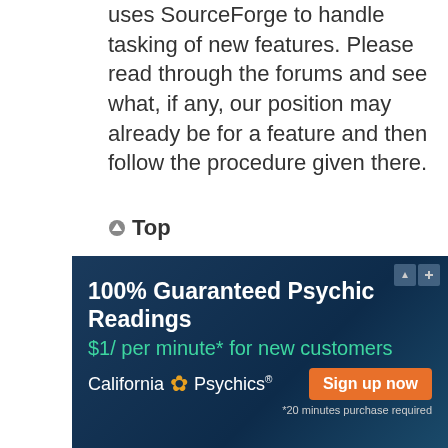uses SourceForge to handle tasking of new features. Please read through the forums and see what, if any, our position may already be for a feature and then follow the procedure given there.
↑ Top
Who do I contact about abusive and/or legal matters related to this board?
Any of the administrators listed
[Figure (other): Advertisement banner for California Psychics: '100% Guaranteed Psychic Readings $1/ per minute* for new customers' with a Sign up now button. Fine print: *20 minutes purchase required]